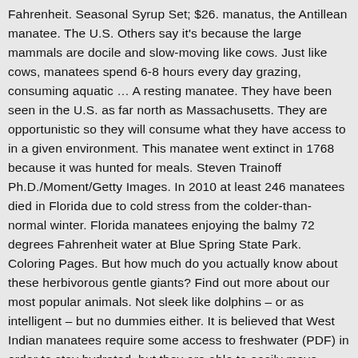Fahrenheit. Seasonal Syrup Set; $26. manatus, the Antillean manatee. The U.S. Others say it's because the large mammals are docile and slow-moving like cows. Just like cows, manatees spend 6-8 hours every day grazing, consuming aquatic ... A resting manatee. They have been seen in the U.S. as far north as Massachusetts. They are opportunistic so they will consume what they have access to in a given environment. This manatee went extinct in 1768 because it was hunted for meals. Steven Trainoff Ph.D./Moment/Getty Images. In 2010 at least 246 manatees died in Florida due to cold stress from the colder-than-normal winter. Florida manatees enjoying the balmy 72 degrees Fahrenheit water at Blue Spring State Park. Coloring Pages. But how much do you actually know about these herbivorous gentle giants? Find out more about our most popular animals. Not sleek like dolphins – or as intelligent – but no dummies either. It is believed that West Indian manatees require some access to freshwater (PDF) in order to stay hydrated, but they are able to easily move between the two ecosystems. 1990.